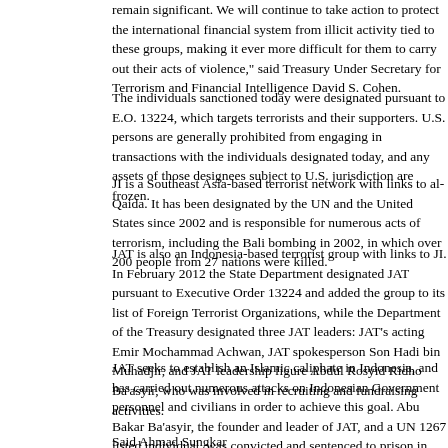remain significant. We will continue to take action to protect the international financial system from illicit activity tied to these groups, making it ever more difficult for them to carry out their acts of violence," said Treasury Under Secretary for Terrorism and Financial Intelligence David S. Cohen.
The individuals sanctioned today were designated pursuant to E.O. 13224, which targets terrorists and their supporters. U.S. persons are generally prohibited from engaging in transactions with the individuals designated today, and any assets of those designees subject to U.S. jurisdiction are frozen.
JI is a Southeast Asia-based terrorist network with links to al-Qaida. It has been designated by the UN and the United States since 2002 and is responsible for numerous acts of terrorism, including the Bali bombing in 2002, in which over 200 people from 27 nations were killed.
JAT is also an Indonesia-based terrorist group with links to JI. In February 2012 the State Department designated JAT pursuant to Executive Order 13224 and added the group to its list of Foreign Terrorist Organizations, while the Department of the Treasury designated three JAT leaders: JAT’s acting Emir Mochammad Achwan, JAT spokesperson Son Hadi bin Muhadjir, and JAT leadership figure Abdul Rosyid Ridho Ba’asyir, who was involved in recruiting and fundraising activities.
JAT seeks to establish an Islamic caliphate in Indonesia, and has carried out numerous attacks on Indonesian Government personnel and civilians in order to achieve this goal. Abu Bakar Ba’asyir, the founder and leader of JAT, and a UN 1267 listed individual, was convicted and sentenced to prison in 2011 for his role in organizing a terrorist training camp in Aceh.
Said Ahmad Sungkar